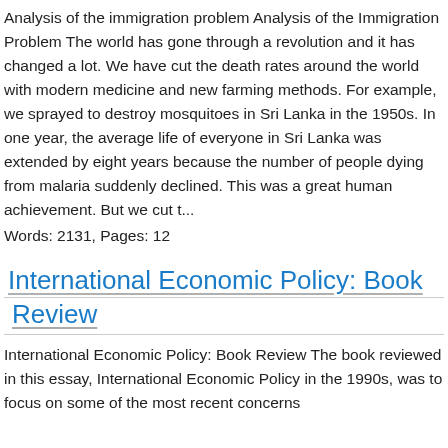Analysis of the immigration problem Analysis of the Immigration Problem The world has gone through a revolution and it has changed a lot. We have cut the death rates around the world with modern medicine and new farming methods. For example, we sprayed to destroy mosquitoes in Sri Lanka in the 1950s. In one year, the average life of everyone in Sri Lanka was extended by eight years because the number of people dying from malaria suddenly declined. This was a great human achievement. But we cut t...
Words: 2131, Pages: 12
International Economic Policy: Book Review
International Economic Policy: Book Review The book reviewed in this essay, International Economic Policy in the 1990s, was to focus on some of the most recent concerns